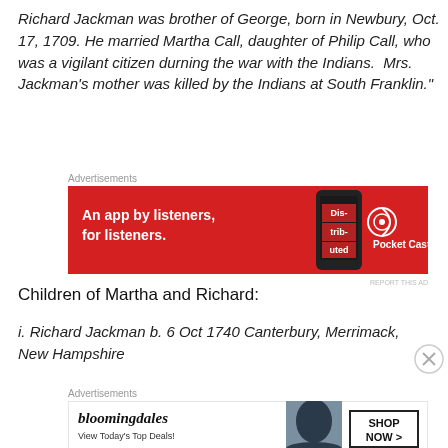Richard Jackman was brother of George, born in Newbury, Oct. 17, 1709. He married Martha Call, daughter of Philip Call, who was a vigilant citizen durning the war with the Indians.  Mrs. Jackman's mother was killed by the Indians at South Franklin."
[Figure (infographic): Pocket Casts advertisement banner: red background, text 'An app by listeners, for listeners.' with Pocket Casts logo and phone image showing 'Distributed' text.]
Children of Martha and Richard:
i. Richard Jackman b. 6 Oct 1740 Canterbury, Merrimack, New Hampshire
[Figure (infographic): Bloomingdale's advertisement banner: 'View Today's Top Deals!' with SHOP NOW button and model wearing hat.]